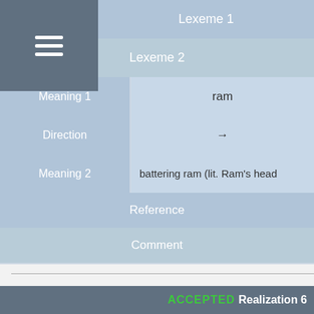|  | Lexeme 1 | Lexeme 2 |
| --- | --- | --- |
| Meaning 1 | ram |  |
| Direction | → |  |
| Meaning 2 | battering ram (lit. Ram's head |  |
| Reference |  |  |
| Comment |  |  |
| ACCEPTED Realization 6 |
| --- |
| Type |
| Language |
| Lexeme |